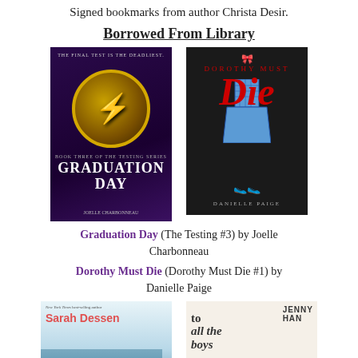Signed bookmarks from author Christa Desir.
Borrowed From Library
[Figure (photo): Book cover of Graduation Day (The Testing #3) by Joelle Charbonneau — dark purple background with gold circle and lightning bolt, title at bottom in white]
[Figure (photo): Book cover of Dorothy Must Die by Danielle Paige — dark background with a blue gingham dress, red scripted 'Die' text, and 'DOROTHY MUST' in red at top]
Graduation Day (The Testing #3) by Joelle Charbonneau
Dorothy Must Die (Dorothy Must Die #1) by Danielle Paige
[Figure (photo): Bottom portion of book cover — Sarah Dessen, New York Times best-selling author, teal/blue beach background]
[Figure (photo): Bottom portion of book cover — To All the Boys I've Loved Before by Jenny Han, handwritten-style title on cream background]